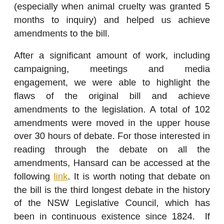(especially when animal cruelty was granted 5 months to inquiry) and helped us achieve amendments to the bill.
After a significant amount of work, including campaigning, meetings and media engagement, we were able to highlight the flaws of the original bill and achieve amendments to the legislation. A total of 102 amendments were moved in the upper house over 30 hours of debate. For those interested in reading through the debate on all the amendments, Hansard can be accessed at the following link. It is worth noting that debate on the bill is the third longest debate in the history of the NSW Legislative Council, which has been in continuous existence since 1824. If you are